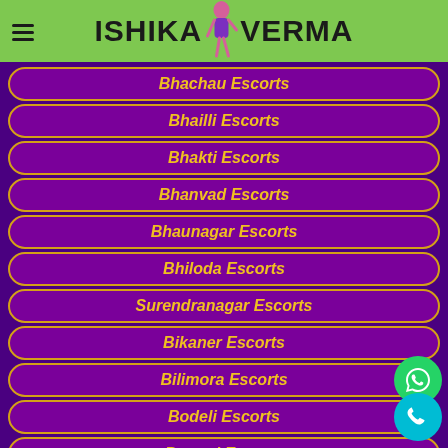ISHIKA VERMA
Bhachau Escorts
Bhailli Escorts
Bhakti Escorts
Bhanvad Escorts
Bhaunagar Escorts
Bhiloda Escorts
Surendranagar Escorts
Bikaner Escorts
Bilimora Escorts
Bodeli Escorts
Borsad Escorts